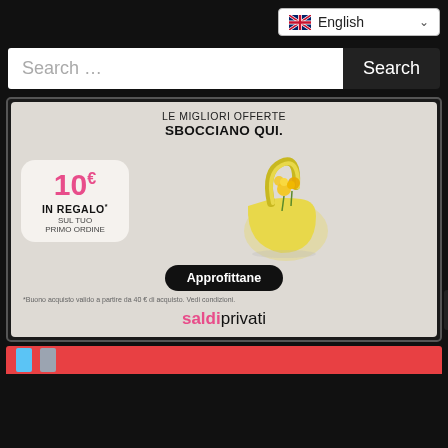[Figure (screenshot): Language selector dropdown showing UK flag and 'English' text with chevron]
Search …
Search
[Figure (infographic): Saldiprivati advertisement: LE MIGLIORI OFFERTE SBOCCIANO QUI. 10€ IN REGALO* SUL TUO PRIMO ORDINE. Approfittane. *Buono acquisto valido a partire da 40 € di acquisto. Vedi condizioni. saldiprivati logo. Yellow handbag with flowers.]
[Figure (infographic): Partial view of a second advertisement with red/coral background]